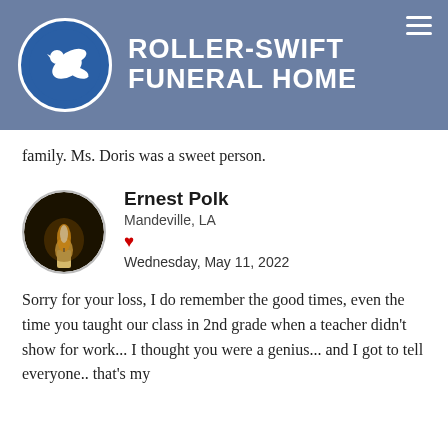Roller-Swift Funeral Home
family. Ms. Doris was a sweet person.
Ernest Polk
Mandeville, LA
Wednesday, May 11, 2022
Sorry for your loss, I do remember the good times, even the time you taught our class in 2nd grade when a teacher didn't show for work... I thought you were a genius... and I got to tell everyone.. that's my